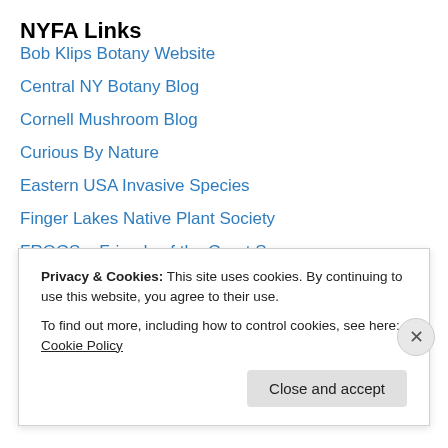NYFA Links
Bob Klips Botany Website
Central NY Botany Blog
Cornell Mushroom Blog
Curious By Nature
Eastern USA Invasive Species
Finger Lakes Native Plant Society
FROGS – Friends of the Great Swamp
GoBotany Simple Plant Key
Google Images
Hawthorne Valley Farm Website
Hempstead Plains Friends Website
Privacy & Cookies: This site uses cookies. By continuing to use this website, you agree to their use.
To find out more, including how to control cookies, see here: Cookie Policy